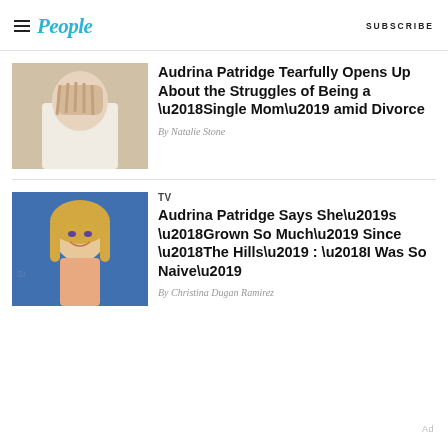People | SUBSCRIBE
[Figure (photo): Woman in white robe covering face with hands]
Audrina Patridge Tearfully Opens Up About the Struggles of Being a ‘Single Mom’ amid Divorce
By Natalie Stone
[Figure (photo): Audrina Patridge smiling at event with blue background]
TV
Audrina Patridge Says She’s ‘Grown So Much’ Since ‘The Hills’ : ‘I Was So Naive’
By Christina Dugan Ramirez
Ad